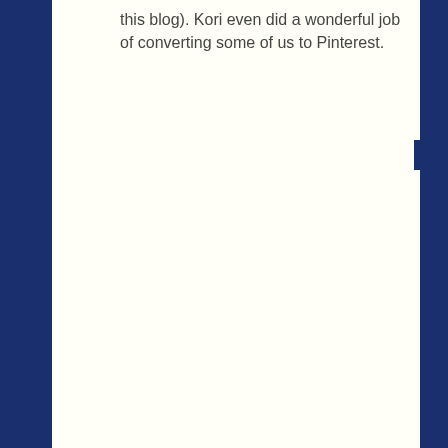this blog). Kori even did a wonderful job of converting some of us to Pinterest.